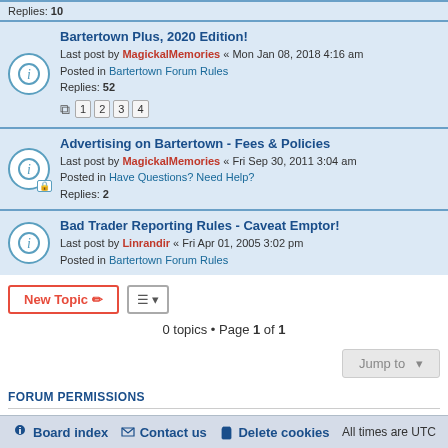Replies: 10
Bartertown Plus, 2020 Edition! — Last post by MagickalMemories « Mon Jan 08, 2018 4:16 am — Posted in Bartertown Forum Rules — Replies: 52
Advertising on Bartertown - Fees & Policies — Last post by MagickalMemories « Fri Sep 30, 2011 3:04 am — Posted in Have Questions? Need Help? — Replies: 2
Bad Trader Reporting Rules - Caveat Emptor! — Last post by Linrandir « Fri Apr 01, 2005 3:02 pm — Posted in Bartertown Forum Rules
0 topics • Page 1 of 1
Jump to
FORUM PERMISSIONS
You cannot post new topics in this forum
You cannot reply to topics in this forum
You cannot edit your posts in this forum
You cannot delete your posts in this forum
You cannot post attachments in this forum
Board index  Contact us  Delete cookies  All times are UTC